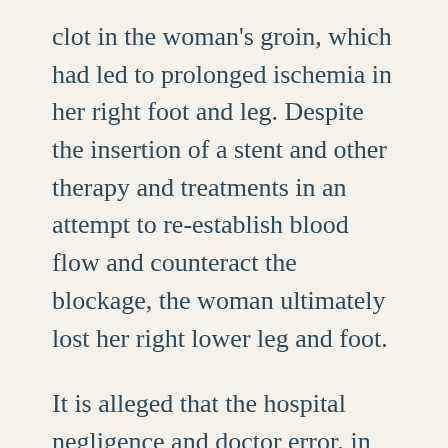clot in the woman's groin, which had led to prolonged ischemia in her right foot and leg. Despite the insertion of a stent and other therapy and treatments in an attempt to re-establish blood flow and counteract the blockage, the woman ultimately lost her right lower leg and foot.
It is alleged that the hospital negligence and doctor error, in addition to the defendants' recklessness and deviation from the appropriate standard of care, resulted in the woman's pain and suffering and mental anguish. It also resulted in the loss of her leg